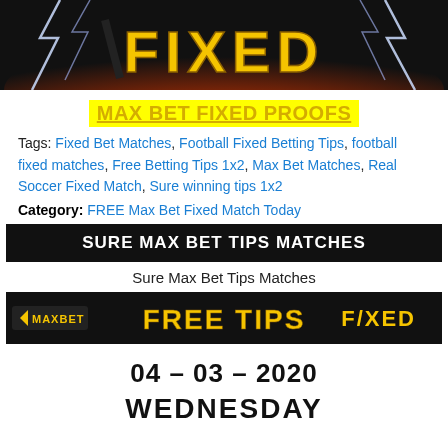[Figure (illustration): Dark banner with lightning bolts and fire effect with yellow text spelling 'FIXED']
MAX BET FIXED PROOFS
Tags: Fixed Bet Matches, Football Fixed Betting Tips, football fixed matches, Free Betting Tips 1x2, Max Bet Matches, Real Soccer Fixed Match, Sure winning tips 1x2
Category: FREE Max Bet Fixed Match Today
SURE MAX BET TIPS MATCHES
Sure Max Bet Tips Matches
[Figure (illustration): Dark banner with MAXBET logo on left, FREE TIPS in yellow text in center, FIXED logo on right]
04 – 03 – 2020
WEDNESDAY